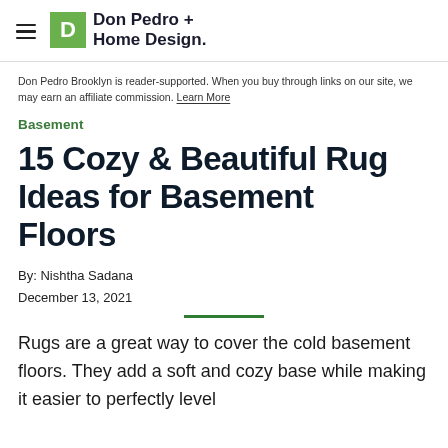Don Pedro + Home Design.
Don Pedro Brooklyn is reader-supported. When you buy through links on our site, we may earn an affiliate commission. Learn More
Basement
15 Cozy & Beautiful Rug Ideas for Basement Floors
By: Nishtha Sadana
December 13, 2021
Rugs are a great way to cover the cold basement floors. They add a soft and cozy base while making it easier to perfectly level